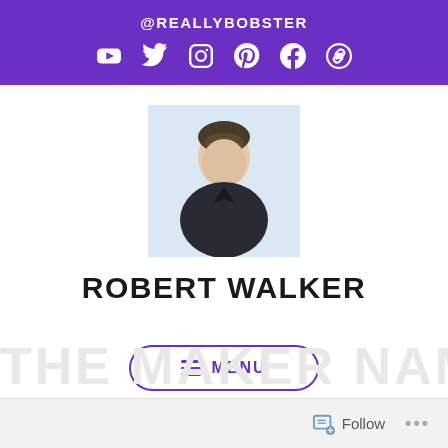@REALLYBOBSTER
[Figure (infographic): Social media icons row: YouTube, Twitter, Instagram, Pinterest, Facebook, chain/link]
[Figure (photo): Profile photo of Robert Walker, a young man with short hair wearing a dark v-neck shirt against a light blue background]
ROBERT WALKER
≡ MENU
Follow
···